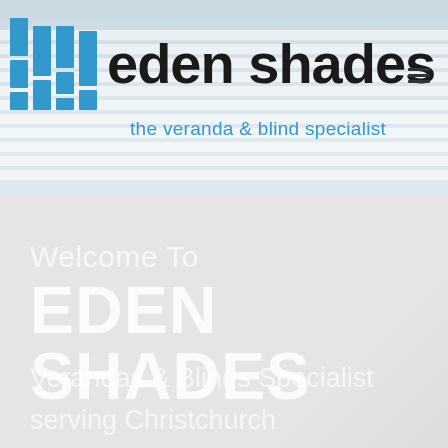[Figure (logo): Eden Shades logo with blue vertical bar icon and company name 'eden shades' in bold black, tagline 'the veranda & blind specialist' in blue, on a light blue/grey architectural background with horizontal blind slats]
Welcome To
EDEN SHADES
Verandas & Blinds Specialist
serving Christchurch